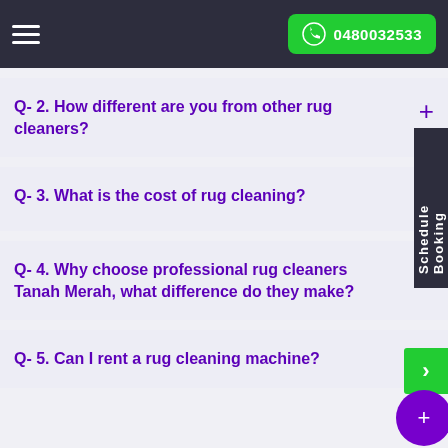0480032533
Q- 2. How different are you from other rug cleaners?
Q- 3. What is the cost of rug cleaning?
Q- 4. Why choose professional rug cleaners Tanah Merah, what difference do they make?
Q- 5. Can I rent a rug cleaning machine?